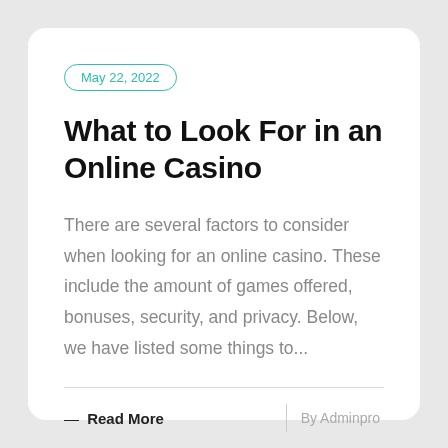May 22, 2022
What to Look For in an Online Casino
There are several factors to consider when looking for an online casino. These include the amount of games offered, bonuses, security, and privacy. Below, we have listed some things to...
— Read More
By Adminpro